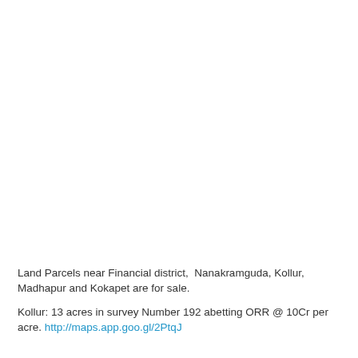Land Parcels near Financial district,  Nanakramguda, Kollur, Madhapur and Kokapet are for sale.
Kollur: 13 acres in survey Number 192 abetting ORR @ 10Cr per acre. http://maps.app.goo.gl/2PtqJ